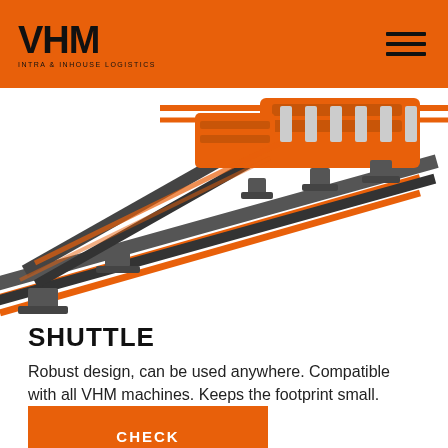VHM — Intra & Inhouse Logistics
[Figure (photo): 3D rendering of a VHM shuttle machine system showing orange and dark grey rail tracks with mounting brackets and mechanical components on a white background]
SHUTTLE
Robust design, can be used anywhere. Compatible with all VHM machines. Keeps the footprint small.
CHECK